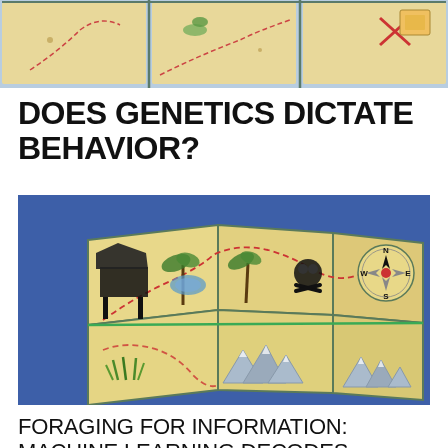[Figure (photo): Top portion of a treasure map board game showing grid tiles with various icons including an X mark, a leaf/fern, and other elements on a sandy/parchment colored background with blue border]
DOES GENETICS DICTATE BEHAVIOR?
[Figure (photo): A treasure map board game with multiple tiles arranged on a blue surface, showing various illustrated elements including a gazebo/hut, palm trees, compass rose, skull and crossbones, mountains, grass tufts, and dashed red path lines on parchment-colored tiles]
FORAGING FOR INFORMATION: MACHINE LEARNING DECODES GENETIC INFLUENCE OVER BEHAVIOR